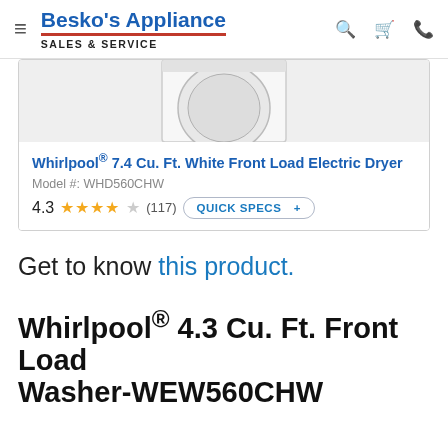Besko's Appliance SALES & SERVICE
[Figure (photo): Partial view of a white front load electric dryer appliance]
Whirlpool® 7.4 Cu. Ft. White Front Load Electric Dryer
Model #: WHD560CHW
4.3 ★★★★☆ (117) QUICK SPECS +
Get to know this product.
Whirlpool® 4.3 Cu. Ft. Front Load Washer-WEW560CHW